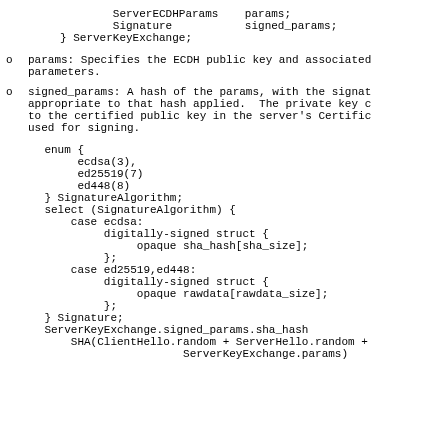ServerECDHParams    params;
            Signature           signed_params;
    } ServerKeyExchange;
params: Specifies the ECDH public key and associated parameters.
signed_params: A hash of the params, with the signature appropriate to that hash applied.  The private key corresponding to the certified public key in the server's Certificate is used for signing.
enum {
         ecdsa(3),
         ed25519(7)
         ed448(8)
    } SignatureAlgorithm;
    select (SignatureAlgorithm) {
        case ecdsa:
             digitally-signed struct {
                  opaque sha_hash[sha_size];
             };
        case ed25519,ed448:
             digitally-signed struct {
                  opaque rawdata[rawdata_size];
             };
    } Signature;
    ServerKeyExchange.signed_params.sha_hash
        SHA(ClientHello.random + ServerHello.random +
                         ServerKeyExchange.params)